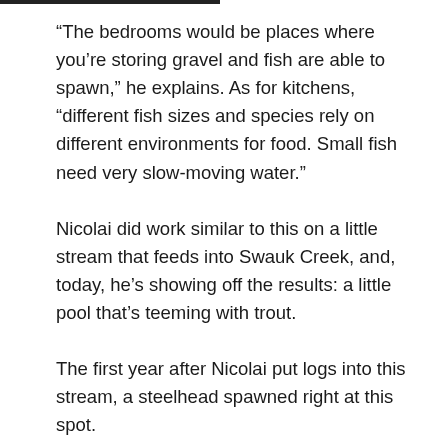“The bedrooms would be places where you’re storing gravel and fish are able to spawn,” he explains. As for kitchens, “different fish sizes and species rely on different environments for food. Small fish need very slow-moving water.”
Nicolai did work similar to this on a little stream that feeds into Swauk Creek, and, today, he’s showing off the results: a little pool that’s teeming with trout.
The first year after Nicolai put logs into this stream, a steelhead spawned right at this spot.
Copyright 2018 KUOW